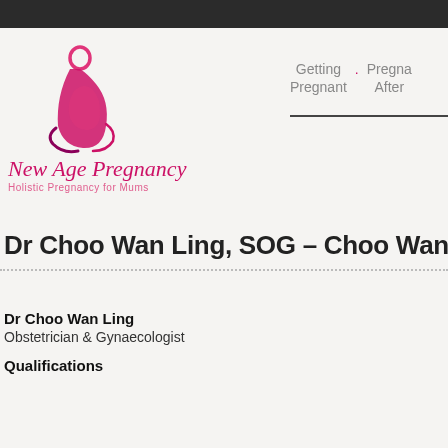[Figure (logo): New Age Pregnancy logo — stylized pregnant woman silhouette in pink/crimson with cursive text 'New Age Pregnancy' and subtitle 'Holistic Pregnancy for Mums']
Getting Pregnant · Pregna After
Dr Choo Wan Ling, SOG – Choo Wan Ling
Dr Choo Wan Ling
Obstetrician & Gynaecologist
Qualifications